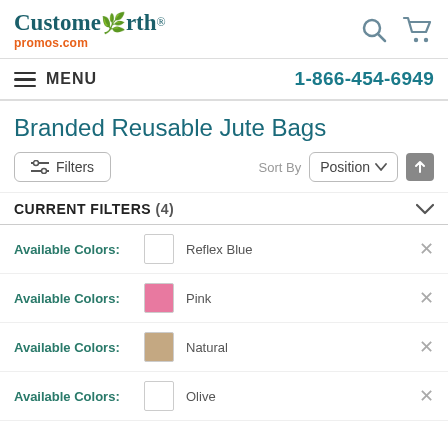[Figure (logo): CustomEarth Promos logo with green leaf and orange promos.com text]
MENU  1-866-454-6949
Branded Reusable Jute Bags
Filters  Sort By  Position
CURRENT FILTERS (4)
Available Colors: Reflex Blue
Available Colors: Pink
Available Colors: Natural
Available Colors: Olive